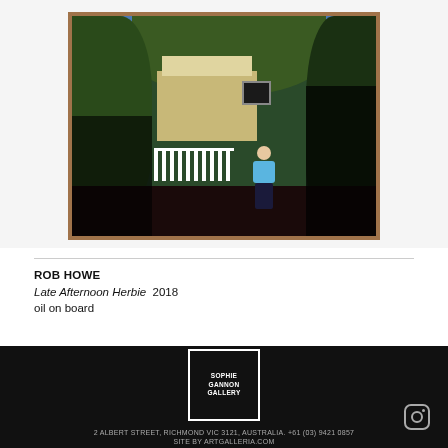[Figure (photo): A framed oil painting showing a person in a blue shirt standing in a garden/backyard with lush green foliage, a white picket fence, and a light-coloured house structure, dark background, set against a wooden frame.]
ROB HOWE
Late Afternoon Herbie  2018
oil on board
[Figure (logo): Sophie Gannon Gallery logo — white text on black square border: SOPHIE GANNON GALLERY]
2 ALBERT STREET, RICHMOND VIC 3121, AUSTRALIA. +61 (03) 9421 0857
SITE BY ARTGALLERIA.COM